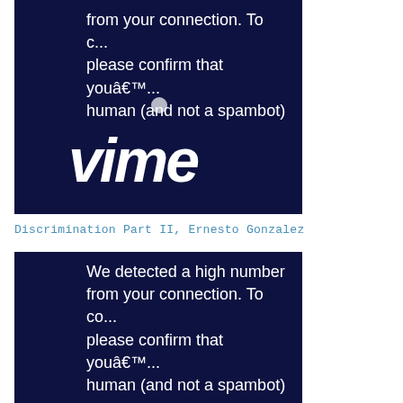[Figure (screenshot): Vimeo CAPTCHA verification screen on dark navy background. White text reads partial message: 'from your connection. To c... please confirm that youâ€™... human (and not a spambot)' with Vimeo logo and a circular dot/checkbox element.]
Discrimination Part II, Ernesto Gonzalez
[Figure (screenshot): Vimeo CAPTCHA verification screen on dark navy background. White text reads: 'We detected a high number from your connection. To co... please confirm that youâ€™... human (and not a spambot)' with Vimeo logo and a circular dot/checkbox element.]